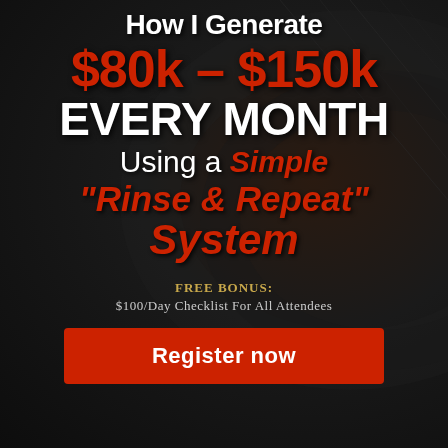How I Generate $80k – $150k EVERY MONTH Using a Simple "Rinse & Repeat" System
FREE BONUS: $100/Day Checklist For All Attendees
Register now